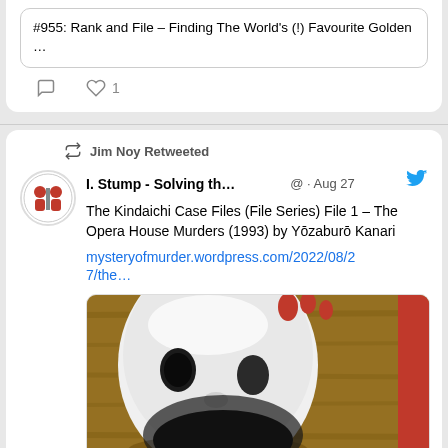#955: Rank and File – Finding The World's (!) Favourite Golden ...
Jim Noy Retweeted
I. Stump - Solving th...  @  · Aug 27
The Kindaichi Case Files (File Series) File 1 – The Opera House Murders (1993) by Yōzaburō Kanari
mysteryofmurder.wordpress.com/2022/08/27/the…
[Figure (photo): A white theatrical comedy/drama mask on wooden surface with red droplets, partially revealing a dark mask below]
mysteryofmurder.wordpress.com